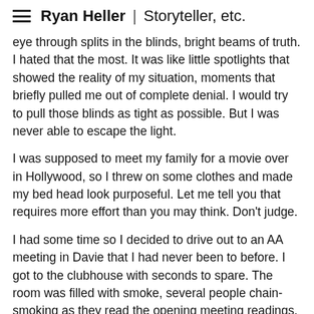Ryan Heller | Storyteller, etc.
eye through splits in the blinds, bright beams of truth. I hated that the most. It was like little spotlights that showed the reality of my situation, moments that briefly pulled me out of complete denial. I would try to pull those blinds as tight as possible. But I was never able to escape the light.
I was supposed to meet my family for a movie over in Hollywood, so I threw on some clothes and made my bed head look purposeful. Let me tell you that requires more effort than you may think. Don't judge.
I had some time so I decided to drive out to an AA meeting in Davie that I had never been to before. I got to the clubhouse with seconds to spare. The room was filled with smoke, several people chain-smoking as they read the opening meeting readings.
The stench of cigarettes was killer, but I hadn't been to a